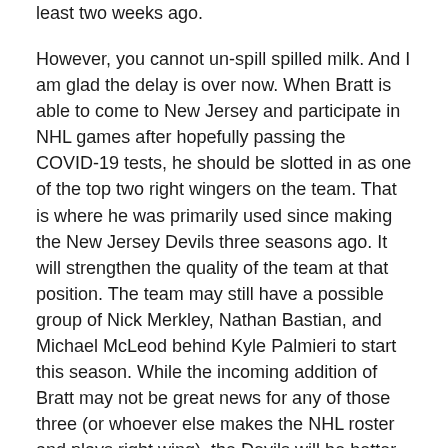least two weeks ago.
However, you cannot un-spill spilled milk. And I am glad the delay is over now. When Bratt is able to come to New Jersey and participate in NHL games after hopefully passing the COVID-19 tests, he should be slotted in as one of the top two right wingers on the team. That is where he was primarily used since making the New Jersey Devils three seasons ago. It will strengthen the quality of the team at that position. The team may still have a possible group of Nick Merkley, Nathan Bastian, and Michael McLeod behind Kyle Palmieri to start this season. While the incoming addition of Bratt may not be great news for any of those three (or whoever else makes the NHL roster and plays right wing), the Devils will be better for it once Bratt gets up to NHL speed again.